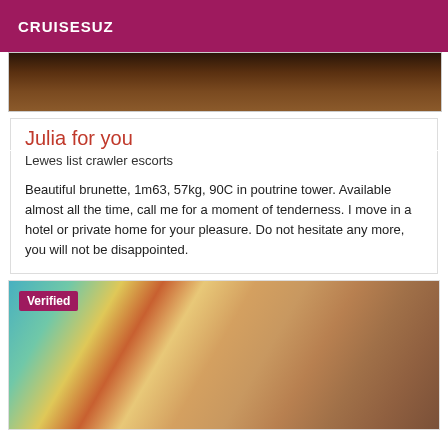CRUISESUZ
[Figure (photo): Top portion of a photo, dark brownish tones, partially visible]
Julia for you
Lewes list crawler escorts
Beautiful brunette, 1m63, 57kg, 90C in poutrine tower. Available almost all the time, call me for a moment of tenderness. I move in a hotel or private home for your pleasure. Do not hesitate any more, you will not be disappointed.
[Figure (photo): Photo of a woman lying on colorful pillows and cushions in a bright outdoor or semi-outdoor setting, with a 'Verified' badge overlay]